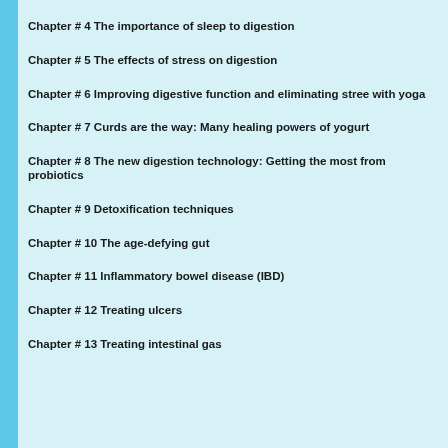Chapter # 4 The importance of sleep to digestion
Chapter # 5 The effects of stress on digestion
Chapter # 6 Improving digestive function and eliminating stree with yoga
Chapter # 7 Curds are the way: Many healing powers of yogurt
Chapter # 8 The new digestion technology: Getting the most from probiotics
Chapter # 9 Detoxification techniques
Chapter # 10 The age-defying gut
Chapter # 11 Inflammatory bowel disease (IBD)
Chapter # 12 Treating ulcers
Chapter # 13 Treating intestinal gas